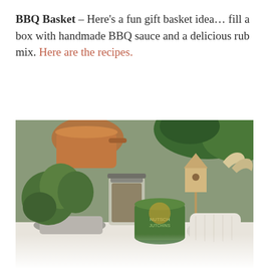BBQ Basket – Here's a fun gift basket idea… fill a box with handmade BBQ sauce and a delicious rub mix. Here are the recipes.
[Figure (photo): A gift basket arrangement photographed from above showing green herb plants in a pot, jars of spices/rubs, a green Nutschell/Nutcher branded tin, a small wooden birdhouse, gardening gloves, white salt or seasoning in a burlap bag, and a copper watering can in the background, all set on a white surface. The bottom of the image fades to a lighter/white out-of-focus area.]